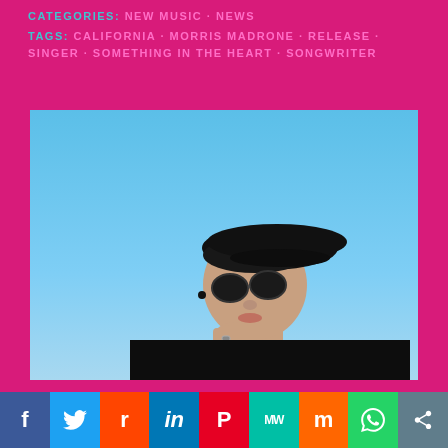CATEGORIES: NEW MUSIC · NEWS
TAGS: CALIFORNIA · MORRIS MADRONE · RELEASE · SINGER · SOMETHING IN THE HEART · SONGWRITER
[Figure (photo): Person wearing black beret, black turtleneck, and dark sunglasses looking upward against a clear blue sky background.]
f  (Twitter bird)  r  in  P  MW  m  (WhatsApp)  < (share)